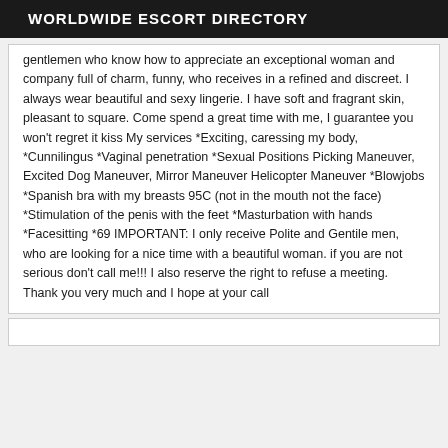WORLDWIDE ESCORT DIRECTORY
gentlemen who know how to appreciate an exceptional woman and company full of charm, funny, who receives in a refined and discreet. I always wear beautiful and sexy lingerie. I have soft and fragrant skin, pleasant to square. Come spend a great time with me, I guarantee you won't regret it kiss My services *Exciting, caressing my body, *Cunnilingus *Vaginal penetration *Sexual Positions Picking Maneuver, Excited Dog Maneuver, Mirror Maneuver Helicopter Maneuver *Blowjobs *Spanish bra with my breasts 95C (not in the mouth not the face) *Stimulation of the penis with the feet *Masturbation with hands *Facesitting *69 IMPORTANT: I only receive Polite and Gentile men, who are looking for a nice time with a beautiful woman. if you are not serious don't call me!!! I also reserve the right to refuse a meeting. Thank you very much and I hope at your call